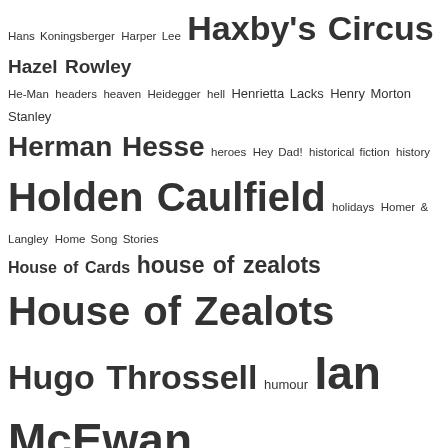[Figure (other): Tag cloud featuring authors, book titles, literary terms and concepts including Hans Koningsberger, Harper Lee, Haxby's Circus, Hazel Rowley, He-Man, headers, heaven, Heidegger, hell, Henrietta Lacks, Henry Morton Stanley, Herman Hesse, heroes, Hey Dad!, historical fiction, history, Holden Caulfield, holidays, Homer & Langley, Home Song Stories, House of Cards, house of zealots, House of Zealots, Hugo Throssell, humour, Ian McEwan, In between the sheets, Indonesia, Infamous, Inside Llewyn Davis, interstellar, interview, Intimate Strangers, Invisible, Ireland, ISBNs, Ishiguro, itunes, J.D. Salinger, J.M. Coetzee, J.S. Battye, Janet Malcolm, Jennifer Egan, JFK, JFK assassination, Joanna Rakoff, Joel Schumacher, John Burbidge, John Fowles, John Howard, John Kinsella, John Updike, Jonathan Franzen, journal writing, JSB, Judgment Day, Julia Baird, Julian Barnes, Kafka, Kalgoorlie, Kate Grenville, Katherine Mansfield, Kevin Brockmeier, King's Park, KSP Writers' Centre, language, last ride, Laurie Steed, Left Behind, Leonard Cohen, Leo Tolstoy, Libra, Library of Babel, Library of Babel, Lila, Lily and Madeleine, links, lionel shriver, Lionel Shriver, lists, literary fiction, literature, Lleyton Hewitt, lost book, Louisa, Louisa Lawson, Louis Esson, louis nowra, love letter, Lubbock, Lytton Strachey, Madelaine Dickie, Man Booker, man in the dark, Margaret Atwood, Margaret River Press, Marilynne Robinson, mark sandman, meaning of life, Melbourne, Mel Hall, meme, memorialisation, memory, MH17, Michael Faber, Mike Riddell]